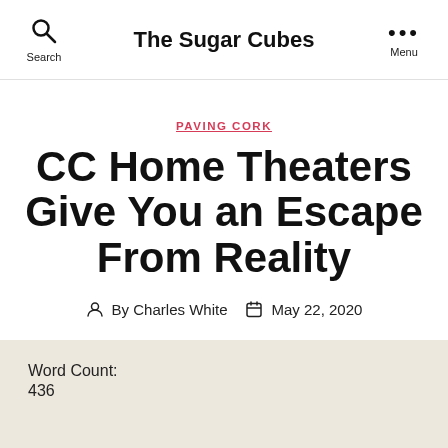The Sugar Cubes
PAVING CORK
CC Home Theaters Give You an Escape From Reality
By Charles White  May 22, 2020
Word Count:
436